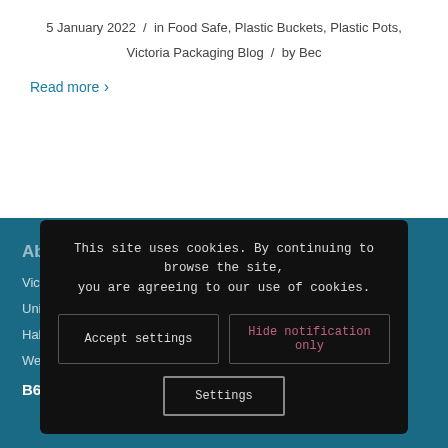5 January 2022 / in Food Safe, Plastic Buckets, Plastic Pots, Victoria Packaging Blog / by Bec
Read more
About
Victoria Packaging Limited
Unit 2...
Halesowen
West Midlands
B62 8BH
This site uses cookies. By continuing to browse the site, you are agreeing to our use of cookies.